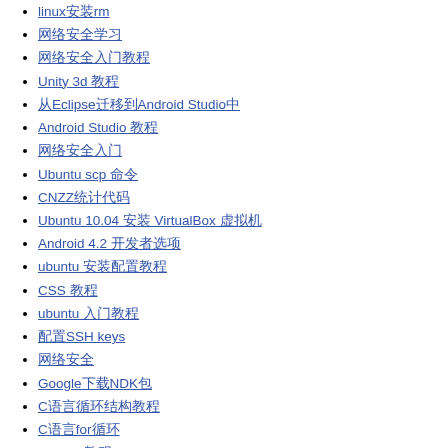linux安装rm
网络安全学习
网络安全入门教程
Unity 3d 教程
如何从Eclipse迁移到Android Studio中
Android Studio 教程
网络安全入门
Ubuntu scp 命令
CNZZ统计代码
Ubuntu 10.04 安装 VirtualBox 虚拟机
Android 4.2 开发者选项
ubuntu 安装配置教程
CSS 教程
ubuntu 入门教程
配置SSH keys
网络安全
Google下载NDK包
C语言循环结构教程
C语言for循环
GitHub 教程
Android SQLiteOpenHelper 数据库操作
网络安全
网络安全入
Windows Phone 8 刷机Nokia520
git 创建branch